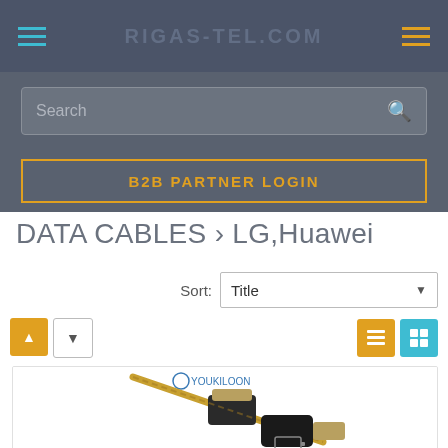RIGAS-TEL.COM
Search
B2B PARTNER LOGIN
DATA CABLES › LG,Huawei
Sort: Title
[Figure (screenshot): Product listing page for data cables for LG and Huawei. Shows a search bar, B2B Partner Login button, sort controls, view toggle buttons, and a partial product image showing a gold braided USB cable with YOUKILOON brand logo.]